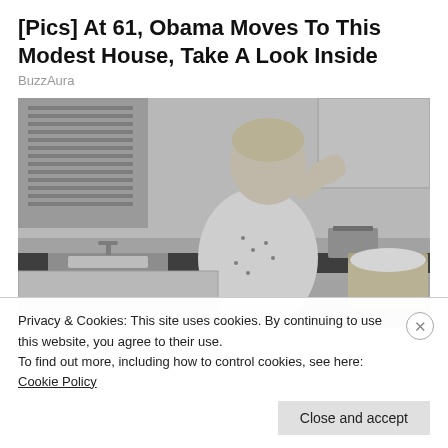[Pics] At 61, Obama Moves To This Modest House, Take A Look Inside
BuzzAura
[Figure (photo): Black and white vintage 1950s-style photo of a woman in a floral apron standing in a kitchen, hand raised to her forehead, looking upward, with kitchen appliances and laundry basket visible in background]
Privacy & Cookies: This site uses cookies. By continuing to use this website, you agree to their use.
To find out more, including how to control cookies, see here: Cookie Policy
Close and accept